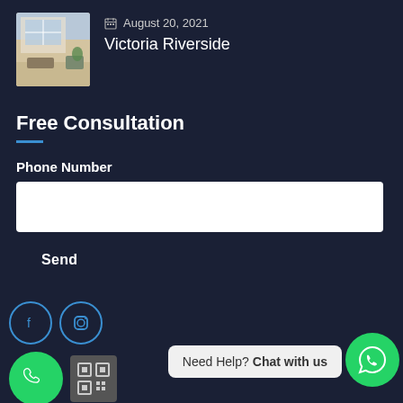[Figure (photo): Thumbnail photo of a bright interior room with large windows showing a cityscape, plants, and furniture]
August 20, 2021
Victoria Riverside
Free Consultation
Phone Number
Send
[Figure (illustration): Facebook icon in blue circle]
[Figure (illustration): Instagram icon in blue circle]
[Figure (illustration): Green phone call button circle]
[Figure (illustration): QR code box]
Need Help? Chat with us
[Figure (illustration): WhatsApp green circle button]